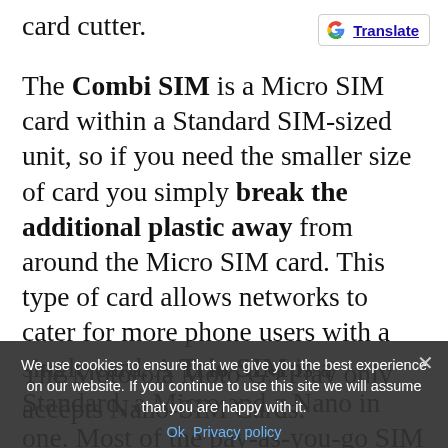card cutter.
[Figure (logo): Google Translate button with G logo and blue underlined text 'Translate']
The Combi SIM is a Micro SIM card within a Standard SIM-sized unit, so if you need the smaller size of card you simply break the additional plastic away from around the Micro SIM card. This type of card allows networks to cater for more phone users with a single card. A Trio SIM is a Standard, a Micro and a Nano in one. Most of the pay-as-you-go SIM cards you buy from convenience stores operate under this format as they're more useful to more
The Motorola Moto G9 Play only accepts Nano-SIM Cards.
We use cookies to ensure that we give you the best experience on our website. If you continue to use this site we will assume that you are happy with it.